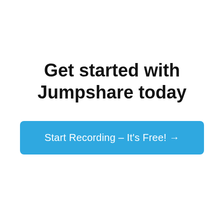Get started with Jumpshare today
Start Recording – It's Free! →